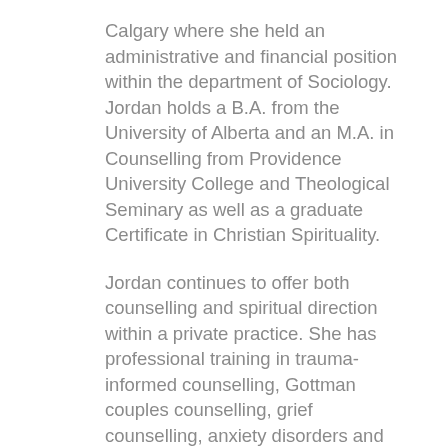Calgary where she held an administrative and financial position within the department of Sociology. Jordan holds a B.A. from the University of Alberta and an M.A. in Counselling from Providence University College and Theological Seminary as well as a graduate Certificate in Christian Spirituality.
Jordan continues to offer both counselling and spiritual direction within a private practice. She has professional training in trauma-informed counselling, Gottman couples counselling, grief counselling, anxiety disorders and identity formation. She has recently taken on a part-time position working in trauma care and training. Jordan has had the great privilege and opportunity to participate in mission/volunteer work in Rwanda on three separate occasions which has had a big impact on her understanding and experience of trauma and suffering. She also served as AB West Member Care Coordinator over a 5 year